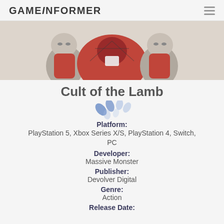GAMEINFORMER
[Figure (illustration): Cult of the Lamb game artwork showing cartoon animal characters in red outfits]
Cult of the Lamb
[Figure (other): Decorative loading dots animation graphic in blue/light blue]
Platform: PlayStation 5, Xbox Series X/S, PlayStation 4, Switch, PC
Developer: Massive Monster
Publisher: Devolver Digital
Genre: Action
Release Date: